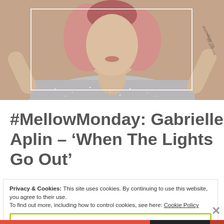[Figure (photo): Young woman with pink hair and a silver/grey sparkly sweater, arms raised behind her head, with visible tattoo text on her arm. Beige/tan background.]
#MellowMonday: Gabrielle Aplin – 'When The Lights Go Out'
Privacy & Cookies: This site uses cookies. By continuing to use this website, you agree to their use.
To find out more, including how to control cookies, see here: Cookie Policy
Close and accept